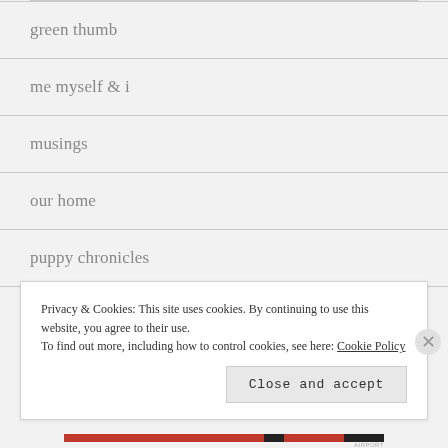green thumb
me myself & i
musings
our home
puppy chronicles
shopping corner
Privacy & Cookies: This site uses cookies. By continuing to use this website, you agree to their use.
To find out more, including how to control cookies, see here: Cookie Policy
Close and accept
AIRPORTHILAWE